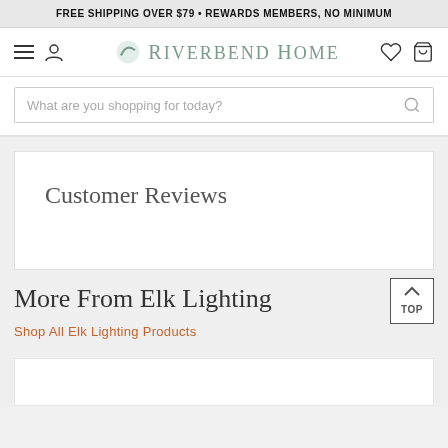FREE SHIPPING OVER $79 • REWARDS MEMBERS, NO MINIMUM
[Figure (logo): Riverbend Home logo with navigation icons (hamburger menu, user icon, heart, cart)]
What are you shopping for today?
Customer Reviews
More From Elk Lighting
Shop All Elk Lighting Products
[Figure (photo): Product card strip at the bottom - partial white card visible]